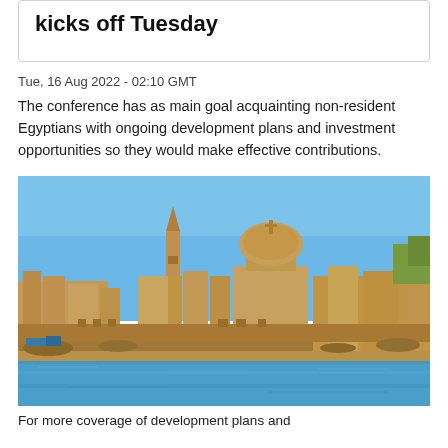kicks off Tuesday
Tue, 16 Aug 2022 - 02:10 GMT
The conference has as main goal acquainting non-resident Egyptians with ongoing development plans and investment opportunities so they would make effective contributions.
[Figure (photo): Aerial/waterfront view of Valletta, Malta, showing historic limestone buildings, church spire, large domed cathedral, and fortification walls along the sea under a clear blue sky.]
For more coverage of development plans and